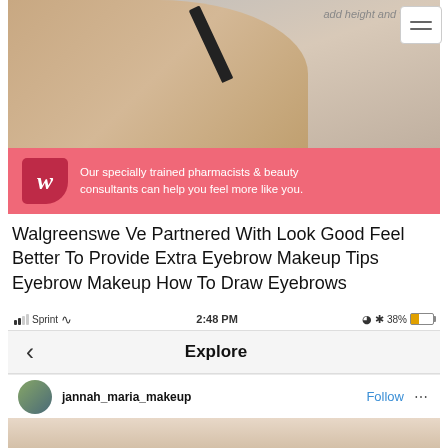[Figure (photo): Woman applying eyebrow makeup with a pencil, partial face view close-up on gray background]
add height and width.
[Figure (infographic): Pink Walgreens banner with logo and text: Our specially trained pharmacists & beauty consultants can help you feel more like you.]
Walgreenswe Ve Partnered With Look Good Feel Better To Provide Extra Eyebrow Makeup Tips Eyebrow Makeup How To Draw Eyebrows
[Figure (screenshot): Mobile status bar showing Sprint carrier, WiFi, 2:48 PM, Bluetooth, 38% battery]
[Figure (screenshot): App navigation bar with back arrow and Explore title]
[Figure (screenshot): Instagram post header with jannah_maria_makeup username, Follow button, and options dots]
[Figure (photo): Bottom of Instagram post showing top of forehead/eyebrow area]